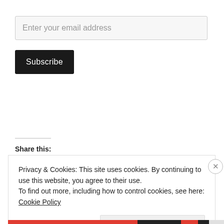Enter your email address
Subscribe
Share this:
Privacy & Cookies: This site uses cookies. By continuing to use this website, you agree to their use.
To find out more, including how to control cookies, see here: Cookie Policy
Close and accept